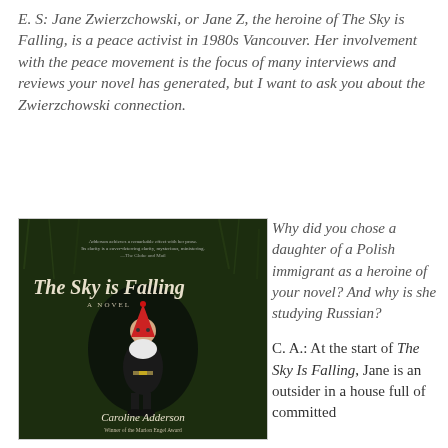E. S: Jane Zwierzchowski, or Jane Z, the heroine of The Sky is Falling, is a peace activist in 1980s Vancouver. Her involvement with the peace movement is the focus of many interviews and reviews your novel has generated, but I want to ask you about the Zwierzchowski connection.
[Figure (photo): Book cover of 'The Sky is Falling: A Novel' by Caroline Adderson, Winner of the Marion Engel Award. Cover shows a gnome figurine lying on grass.]
Why did you chose a daughter of a Polish immigrant as a heroine of your novel? And why is she studying Russian?
C. A.: At the start of The Sky Is Falling, Jane is an outsider in a house full of committed